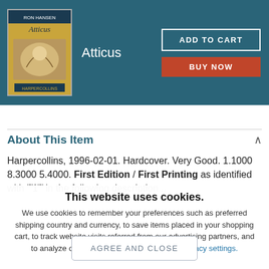Atticus
About This Item
Harpercollins, 1996-02-01. Hardcover. Very Good. 1.1000 8.3000 5.4000. First Edition / First Printing as identified with...
This website uses cookies. We use cookies to remember your preferences such as preferred shipping country and currency, to save items placed in your shopping cart, to track website visits referred from our advertising partners, and to analyze our website traffic. Manage your privacy settings.
AGREE AND CLOSE